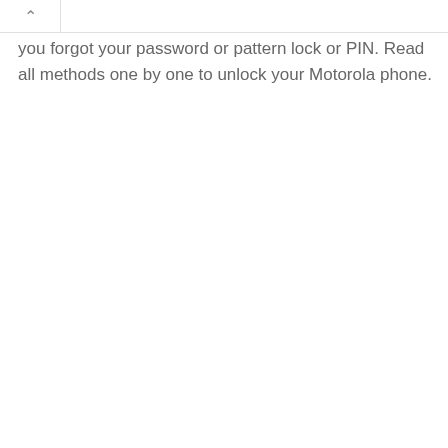you forgot your password or pattern lock or PIN. Read all methods one by one to unlock your Motorola phone.